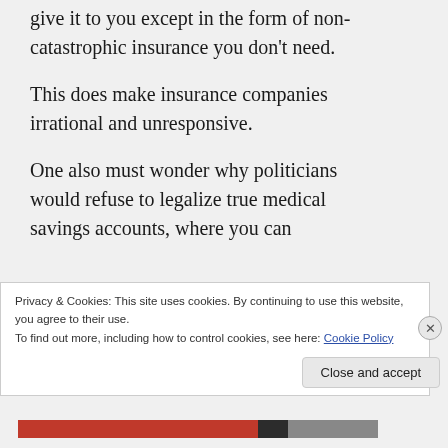give it to you except in the form of non-catastrophic insurance you don't need.
This does make insurance companies irrational and unresponsive.
One also must wonder why politicians would refuse to legalize true medical savings accounts, where you can
Privacy & Cookies: This site uses cookies. By continuing to use this website, you agree to their use.
To find out more, including how to control cookies, see here: Cookie Policy